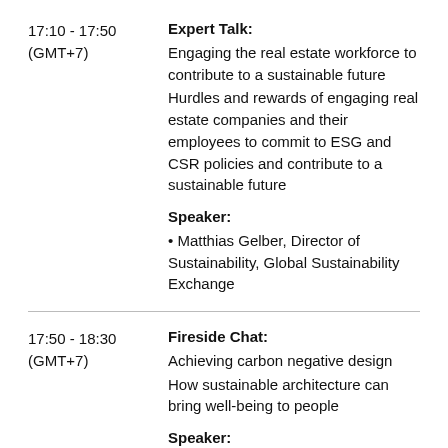17:10 - 17:50
(GMT+7)
Expert Talk:
Engaging the real estate workforce to contribute to a sustainable future
Hurdles and rewards of engaging real estate companies and their employees to commit to ESG and CSR policies and contribute to a sustainable future
Speaker:
• Matthias Gelber, Director of Sustainability, Global Sustainability Exchange
17:50 - 18:30
(GMT+7)
Fireside Chat:
Achieving carbon negative design
How sustainable architecture can bring well-being to people
Speaker: